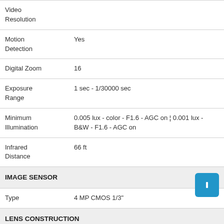| Feature | Value |
| --- | --- |
| Video Resolution |  |
| Motion Detection | Yes |
| Digital Zoom | 16 |
| Exposure Range | 1 sec - 1/30000 sec |
| Minimum Illumination | 0.005 lux - color - F1.6 - AGC on ¦ 0.001 lux - B&W - F1.6 - AGC on |
| Infrared Distance | 66 ft |
| IMAGE SENSOR |  |
| Type | 4 MP CMOS 1/3" |
| LENS CONSTRUCTION |  |